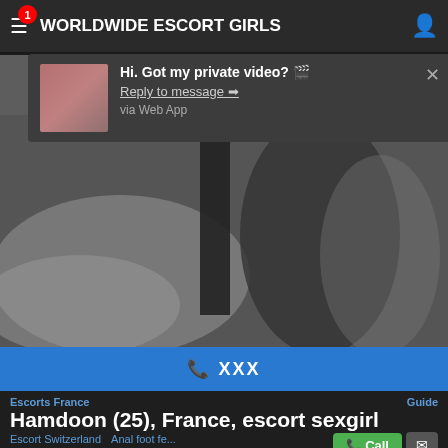WORLDWIDE ESCORT GIRLS
Hi. Got my private video? 🎬
Reply to message ➡
via Web App
[Figure (photo): Black and white blurred photo showing partial human body, used as background/header image on escort website]
📞 XXX
Escorts France | Guide
Hamdoon (25), France, escort sexgirl
Escort Switzerland | Escort escorts | Anal foot fe... | Sexy Busty
Escort Canada | Mature sex meas arizona
📞 Call
✉